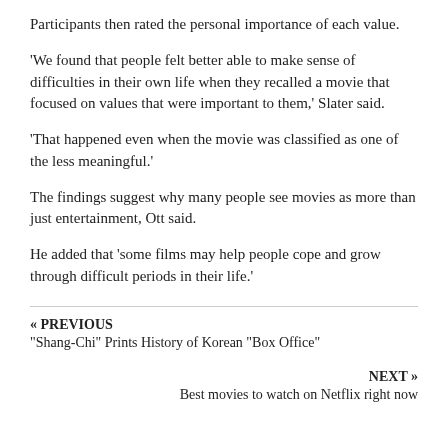Participants then rated the personal importance of each value.
'We found that people felt better able to make sense of difficulties in their own life when they recalled a movie that focused on values that were important to them,' Slater said.
'That happened even when the movie was classified as one of the less meaningful.'
The findings suggest why many people see movies as more than just entertainment, Ott said.
He added that 'some films may help people cope and grow through difficult periods in their life.'
« PREVIOUS
“Shang-Chi” Prints History of Korean “Box Office”
NEXT »
Best movies to watch on Netflix right now